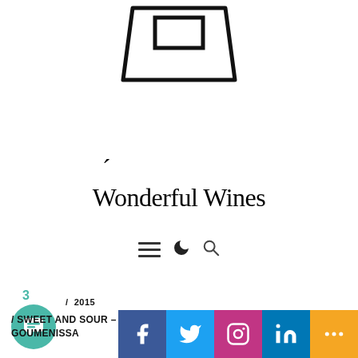[Figure (logo): Stylized trapezoid/table shape logo icon in black outline, representing a wine table or cask shape, centered at top of page]
Wonderful Wines
[Figure (other): Navigation icons: hamburger menu (three horizontal lines), moon/dark mode toggle icon, and magnifying glass search icon]
3
/ 2015
/ SWEET AND SOUR – A VERTICAL... GOUMENISSA